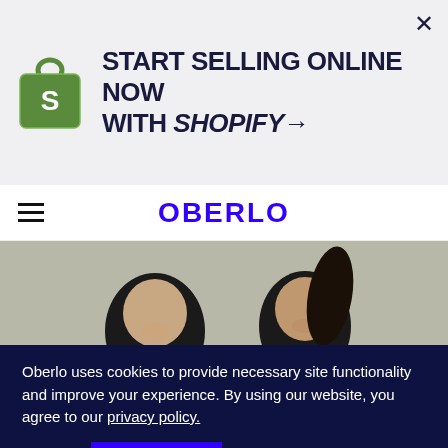[Figure (infographic): Shopify advertisement banner with Shopify bag logo on left, bold uppercase text 'START SELLING ONLINE NOW WITH SHOPIFY→' in center-left, and an X close button on the right. Light grey background.]
OBERLO
[Figure (photo): Hero image showing two young people smiling, one wearing a lime green zip-up hoodie and the other a light blue sleeveless top, against a light wall background.]
Oberlo uses cookies to provide necessary site functionality and improve your experience. By using our website, you agree to our privacy policy.
Reject   ACCEPT